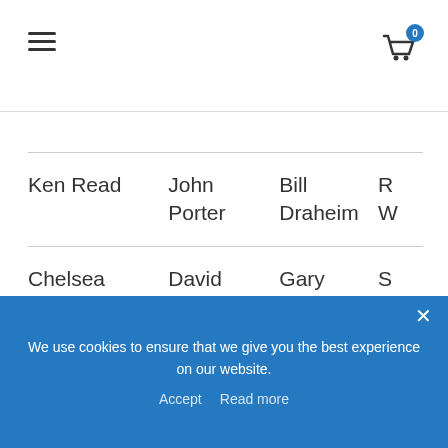Navigation header with hamburger menu and shopping cart icon (badge: 0)
|  |  |  |  |
| --- | --- | --- | --- |
| Ken Read | John Porter | Bill Draheim | R... |
| Chelsea Carlson | David Houghton | Gary Jobson | S... |
| Melges Performance Sailboats | Mark DeGuire | Rick Roy | S A... |
| Andy Horton | Greg Fisher | Dave Ullman | M C... |
We use cookies to ensure that we give you the best experience on our website.
Accept   Read more